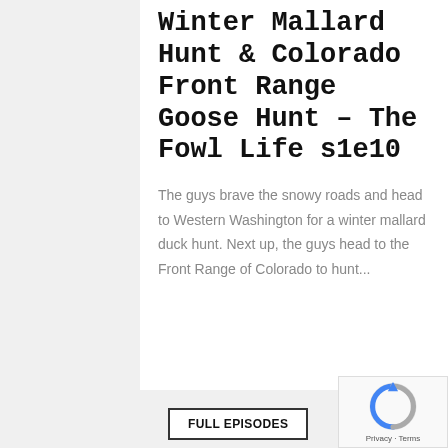Winter Mallard Hunt & Colorado Front Range Goose Hunt – The Fowl Life s1e10
The guys brave the snowy roads and head to Western Washington for a winter mallard duck hunt. Next up, the guys head to the Front Range of Colorado to hunt...
FULL EPISODES